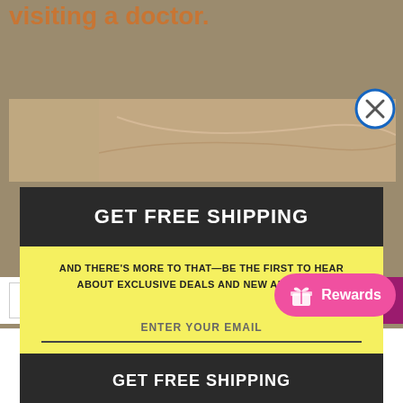visiting a doctor.
[Figure (screenshot): Background image area showing partial medical/body image with tan background]
GET FREE SHIPPING
AND THERE'S MORE TO THAT—BE THE FIRST TO HEAR ABOUT EXCLUSIVE DEALS AND NEW ARRIVALS.
ENTER YOUR EMAIL
GET FREE SHIPPING
Powered by omnisend
− 1 + ADD TO CART
Rewards
Shop Wishlist Cart Account Search